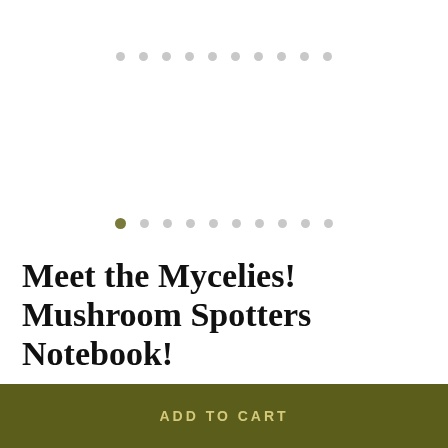[Figure (other): Image carousel dot indicators (top row, faded)]
[Figure (other): Image carousel dot indicators (bottom row, first dot active/olive colored, rest grey)]
Meet the Mycelies! Mushroom Spotters Notebook!
$4.77
Shipping to United States: $7.24
ADD TO CART